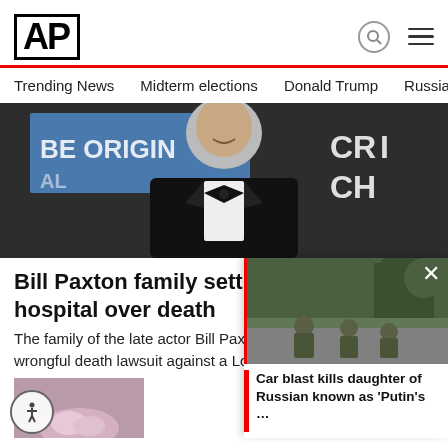AP
Trending News
Midterm elections
Donald Trump
Russia-Ukr
[Figure (photo): Man in tuxedo with bow tie at a Critics Choice event; partial signage reading BE ORIGINAL and CR CHO visible in background]
Bill Paxton family settles lawsuit with hospital over death
The family of the late actor Bill Paxton has agreed to settle a wrongful death lawsuit against a Los A…
AP  Yesterday
Ad Content
[Figure (photo): Soldiers working on a road; military personnel in green uniforms kneel on pavement with trees in background]
Car blast kills daughter of Russian known as 'Putin's …